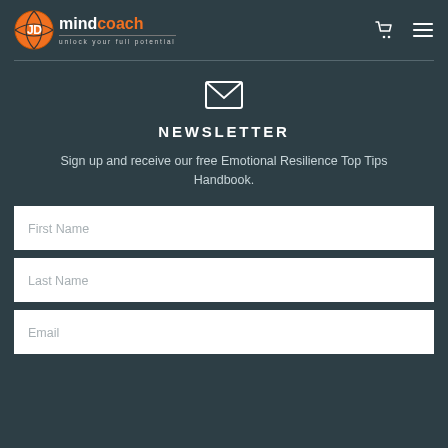JD mindcoach - unlock your full potential
[Figure (logo): JD MindCoach logo with basketball icon, text 'mindcoach' and tagline 'unlock your full potential']
[Figure (illustration): White envelope/email icon]
NEWSLETTER
Sign up and receive our free Emotional Resilience Top Tips Handbook.
First Name
Last Name
Email